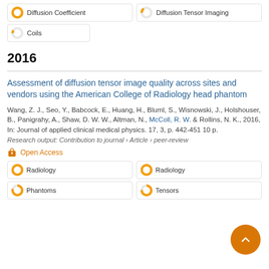Diffusion Coefficient
Diffusion Tensor Imaging
Coils
2016
Assessment of diffusion tensor image quality across sites and vendors using the American College of Radiology head phantom
Wang, Z. J., Seo, Y., Babcock, E., Huang, H., Bluml, S., Wisnowski, J., Holshouser, B., Panigrahy, A., Shaw, D. W. W., Altman, N., McColl, R. W. & Rollins, N. K., 2016, In: Journal of applied clinical medical physics. 17, 3, p. 442-451 10 p.
Research output: Contribution to journal › Article › peer-review
Open Access
Radiology
Radiology
Phantoms
Tensors